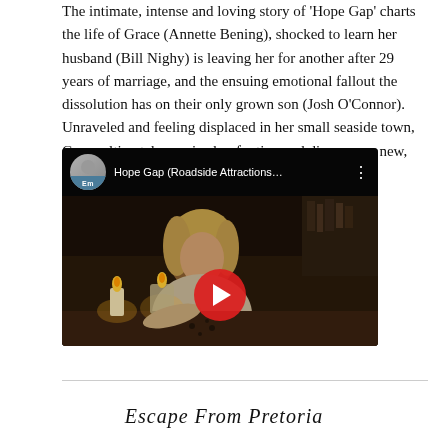The intimate, intense and loving story of 'Hope Gap' charts the life of Grace (Annette Bening), shocked to learn her husband (Bill Nighy) is leaving her for another after 29 years of marriage, and the ensuing emotional fallout the dissolution has on their only grown son (Josh O'Connor). Unraveled and feeling displaced in her small seaside town, Grace ultimately regains her footing and discovers a new, powerful voice.
[Figure (screenshot): YouTube video embed showing 'Hope Gap (Roadside Attractions...)' with a circular avatar thumbnail showing a man labeled 'Em', a dark cinematic scene with a woman and candles, and a red play button in the center.]
Escape From Pretoria